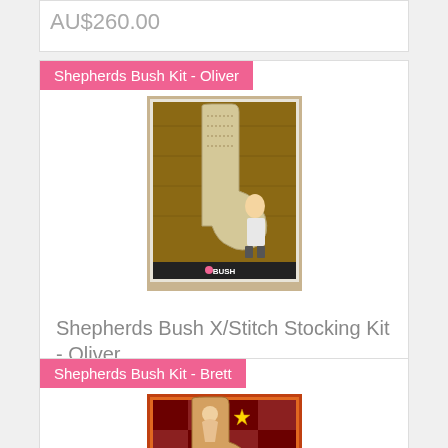AU$260.00
Shepherds Bush Kit - Oliver
[Figure (photo): Photo of a Christmas stocking cross-stitch kit showing a young boy standing next to a large decorated stocking hanging on a wooden wall. The stocking has intricate needlework. Shows a Shepherds Bush brand label at the bottom.]
Shepherds Bush X/Stitch Stocking Kit - Oliver
AU$185.00
Shepherds Bush Kit - Brett
[Figure (photo): Photo of a Christmas stocking cross-stitch kit featuring a colorful red/orange themed stocking with a folk art style angel or figure design, surrounded by decorative elements. Shows Shepherds Bush brand label at bottom.]